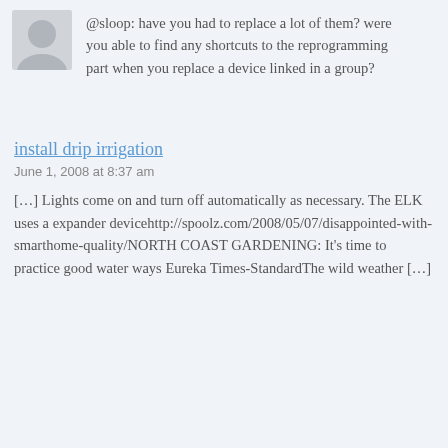[Figure (illustration): Gray avatar/profile picture placeholder showing a silhouette of a person]
@sloop: have you had to replace a lot of them? were you able to find any shortcuts to the reprogramming part when you replace a device linked in a group?
install drip irrigation
June 1, 2008 at 8:37 am
[…] Lights come on and turn off automatically as necessary. The ELK uses a expander devicehttp://spoolz.com/2008/05/07/disappointed-with-smarthome-quality/NORTH COAST GARDENING: It's time to practice good water ways Eureka Times-StandardThe wild weather […]